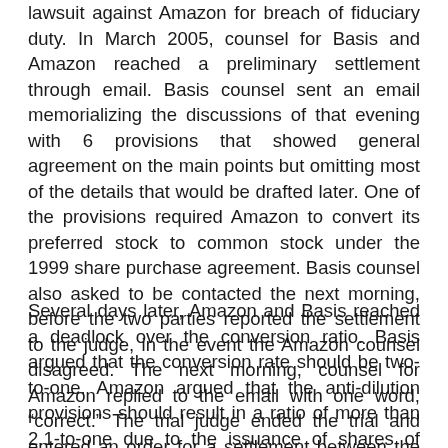lawsuit against Amazon for breach of fiduciary duty. In March 2005, counsel for Basis and Amazon reached a preliminary settlement through email. Basis counsel sent an email memorializing the discussions of that evening with 6 provisions that showed general agreement on the main points but omitting most of the details that would be drafted later. One of the provisions required Amazon to convert its preferred stock to common stock under the 1999 share purchase agreement. Basis counsel also asked to be contacted the next morning, before the two parties reported the settlement to the judge, in the event the Amazon counsel disagreed. The next morning, counsel for Amazon replied to the email with one word, “correct.” The trial judge ended the trial and entered an order for a settlement between the parties, pending the detailed provisions.
Several days later, Amazon and Basis reached a deadlock over the conversion ratio. Basis argued that the conversion rate should be two-to-one. Amazon argued that the anti-dilution provisions should result in a ratio of more than 2.1-to-one due to the issuance of shares of preferred stock to In-Q-Tel. Amazon concluded that this difference would result in a loss of quarter of a million dollars and reduction in